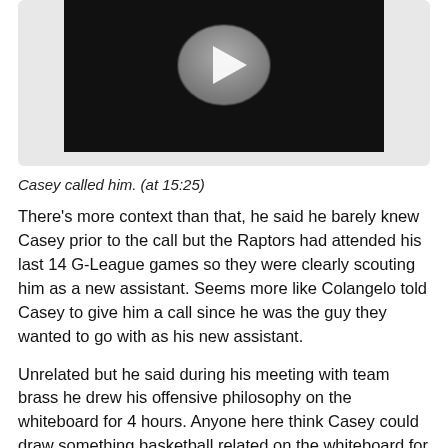[Figure (screenshot): Video player thumbnail showing a black background with a play button icon in the center]
Casey called him. (at 15:25)
There's more context than that, he said he barely knew Casey prior to the call but the Raptors had attended his last 14 G-League games so they were clearly scouting him as a new assistant. Seems more like Colangelo told Casey to give him a call since he was the guy they wanted to go with as his new assistant.
Unrelated but he said during his meeting with team brass he drew his offensive philosophy on the whiteboard for 4 hours. Anyone here think Casey could draw something basketball related on the whiteboard for 4 hours? Perhaps an intricate drawing of a rock.